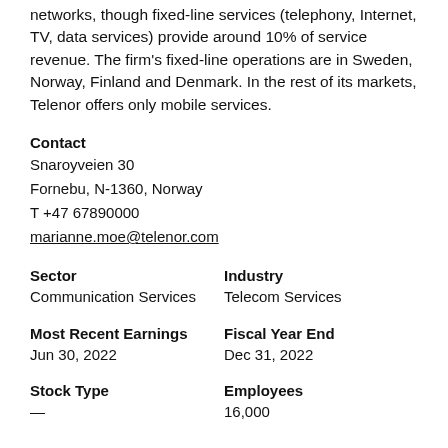networks, though fixed-line services (telephony, Internet, TV, data services) provide around 10% of service revenue. The firm's fixed-line operations are in Sweden, Norway, Finland and Denmark. In the rest of its markets, Telenor offers only mobile services.
Contact
Snaroyveien 30
Fornebu, N-1360, Norway
T +47 67890000
marianne.moe@telenor.com
Sector
Communication Services
Industry
Telecom Services
Most Recent Earnings
Jun 30, 2022
Fiscal Year End
Dec 31, 2022
Stock Type
—
Employees
16,000